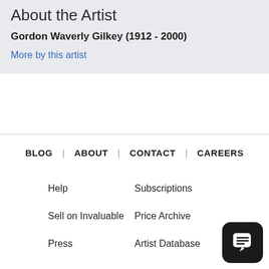About the Artist
Gordon Waverly Gilkey (1912 - 2000)
More by this artist
BLOG | ABOUT | CONTACT | CAREERS
Help
Subscriptions
Sell on Invaluable
Price Archive
Press
Artist Database